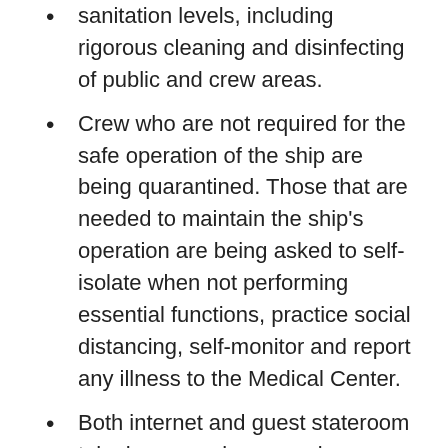sanitation levels, including rigorous cleaning and disinfecting of public and crew areas.
Crew who are not required for the safe operation of the ship are being quarantined. Those that are needed to maintain the ship's operation are being asked to self-isolate when not performing essential functions, practice social distancing, self-monitor and report any illness to the Medical Center.
Both internet and guest stateroom telephone services remain complimentary so that guests may stay in touch with their families.
Zaandam was sailing a South America voyage that departed Buenos Aires, Argentina, on March 7 and was originally scheduled to end in San Antonio, Chile, on March 21. However, due to global health